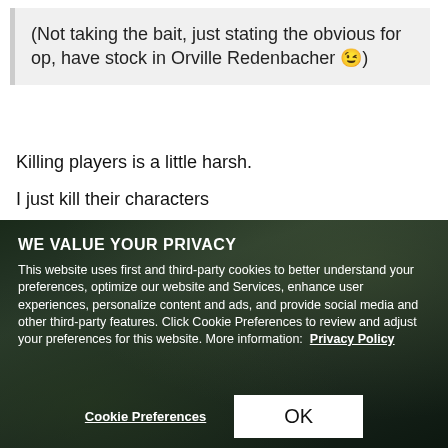(Not taking the bait, just stating the obvious for op, have stock in Orville Redenbacher 😉)
Killing players is a little harsh.
I just kill their characters
WE VALUE YOUR PRIVACY
This website uses first and third-party cookies to better understand your preferences, optimize our website and Services, enhance user experiences, personalize content and ads, and provide social media and other third-party features. Click Cookie Preferences to review and adjust your preferences for this website. More information: Privacy Policy
Cookie Preferences
OK